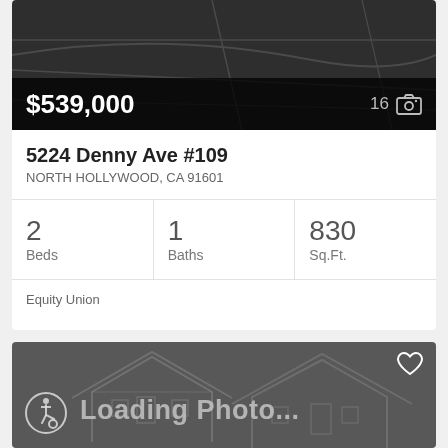[Figure (screenshot): Real estate listing card showing property at 5224 Denny Ave #109, North Hollywood, CA 91601 priced at $539,000 with 2 beds, 1 bath, 830 sq.ft., listed by Equity Union. Below is a second listing card showing a loading photo placeholder with accessibility icon.]